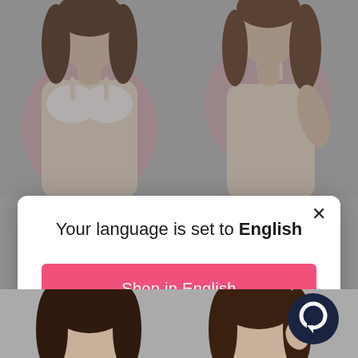[Figure (screenshot): Background showing two female models wearing lingerie/bras on a gray background with pink circles, plus bottom partial view of two more models and a dark chat icon.]
Your language is set to English
Shop in English
Change language